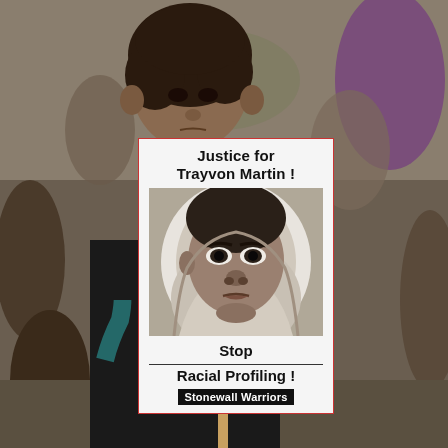[Figure (photo): A young boy holding a protest sign at a demonstration. The sign reads 'Justice for Trayvon Martin!' with a black-and-white portrait photo of Trayvon Martin, followed by 'Stop Racial Profiling!' and a black banner reading 'Stonewall Warriors'. The background shows other protesters. The boy is wearing a black t-shirt.]